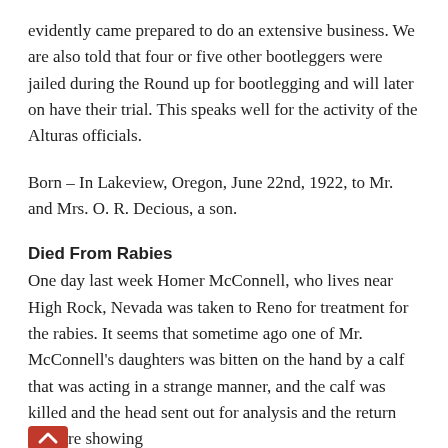evidently came prepared to do an extensive business. We are also told that four or five other bootleggers were jailed during the Round up for bootlegging and will later on have their trial. This speaks well for the activity of the Alturas officials.
Born – In Lakeview, Oregon, June 22nd, 1922, to Mr. and Mrs. O. R. Decious, a son.
Died From Rabies
One day last week Homer McConnell, who lives near High Rock, Nevada was taken to Reno for treatment for the rabies. It seems that sometime ago one of Mr. McConnell's daughters was bitten on the hand by a calf that was acting in a strange manner, and the calf was killed and the head sent out for analysis and the returns re showing presence and of the rabies. The da…